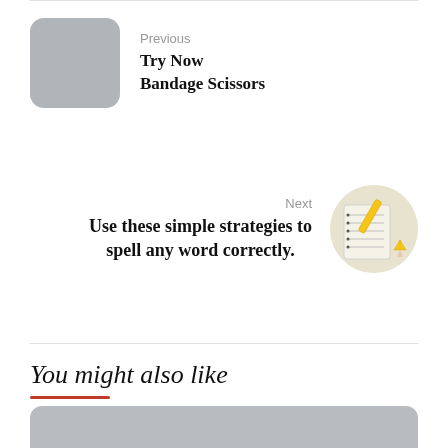Previous
Try Now
Bandage Scissors
Next
Use these simple strategies to spell any word correctly.
You might also like